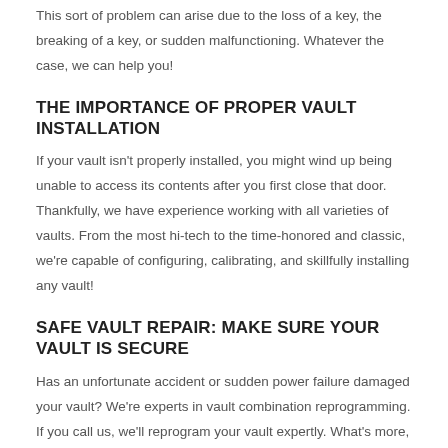This sort of problem can arise due to the loss of a key, the breaking of a key, or sudden malfunctioning. Whatever the case, we can help you!
THE IMPORTANCE OF PROPER VAULT INSTALLATION
If your vault isn't properly installed, you might wind up being unable to access its contents after you first close that door. Thankfully, we have experience working with all varieties of vaults. From the most hi-tech to the time-honored and classic, we're capable of configuring, calibrating, and skillfully installing any vault!
SAFE VAULT REPAIR: MAKE SURE YOUR VAULT IS SECURE
Has an unfortunate accident or sudden power failure damaged your vault? We're experts in vault combination reprogramming. If you call us, we'll reprogram your vault expertly. What's more, we guarantee minimal disruption to your day-to-day activities. As homeowners ourselves, we know how much of a nuisance repairmen and contractors can be to your